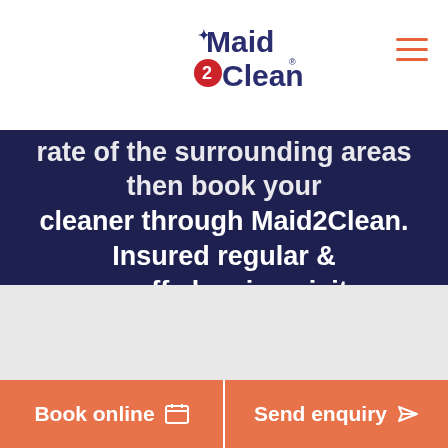Maid2Clean logo and navigation
rate of the surrounding areas then book your cleaner through Maid2Clean. Insured regular & one-off cleaning visits.
[Figure (other): Five gold stars rating]
96% of clients recommend our service
Call us free on 0800 567 7492
Book online
Send enquiry